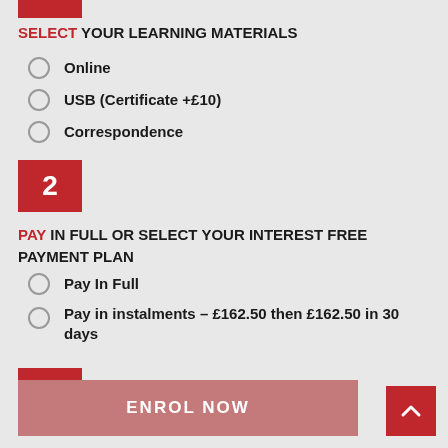SELECT YOUR LEARNING MATERIALS
Online
USB (Certificate +£10)
Correspondence
[Figure (other): Red box with number 2]
PAY IN FULL OR SELECT YOUR INTEREST FREE PAYMENT PLAN
Pay In Full
Pay in instalments – £162.50 then £162.50 in 30 days
[Figure (other): Red box with number 3]
ENROL NOW